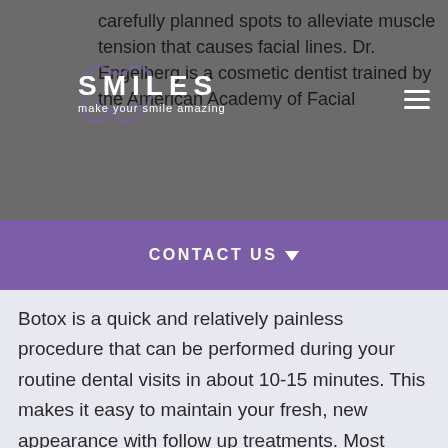carefully planned spots to alleviate muscle tension that causes facial lines. Dr. Engelberg is a cosmetic dentist trained by the American Academy of Facial
[Figure (logo): Ah Ah Smiles logo with tooth/smile icon and tagline 'make your smile amazing']
CONTACT US
Botox is a quick and relatively painless procedure that can be performed during your routine dental visits in about 10-15 minutes. This makes it easy to maintain your fresh, new appearance with follow up treatments. Most patients do not require an anesthetic and easily tolerate the thin needles used to strategically inject the botulinum toxin protein.
After your treatment, you may notice minor redness or swelling at the injection site which will dissipate